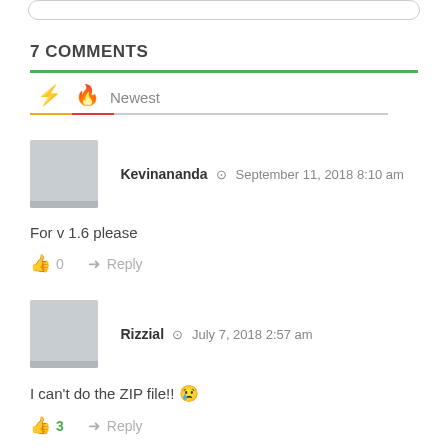7 COMMENTS
Kevinananda · September 11, 2018 8:10 am
For v 1.6 please
👍 0  Reply
Rizzial · July 7, 2018 2:57 am
I can't do the ZIP file!! 😢
👍 3  Reply